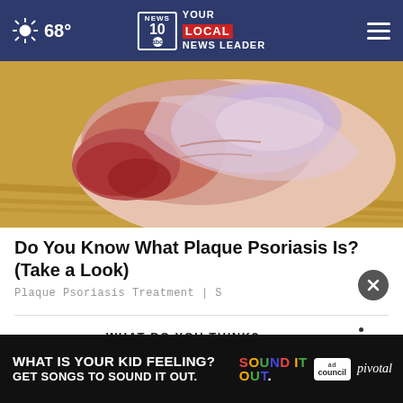68° NEWS 10 abc YOUR LOCAL NEWS LEADER
[Figure (photo): Close-up photo of a foot/heel showing skin affected by psoriasis with reddish, flaky, irritated skin against a wooden background]
Do You Know What Plaque Psoriasis Is? (Take a Look)
Plaque Psoriasis Treatment | S
WHAT DO YOU THINK?
Do you think the president should have the power to declassify documents without a formal legal process to do so?
[Figure (screenshot): Advertisement banner: WHAT IS YOUR KID FEELING? GET SONGS TO SOUND IT OUT. with SOUND IT OUT logo, ad council logo, and pivotal branding]